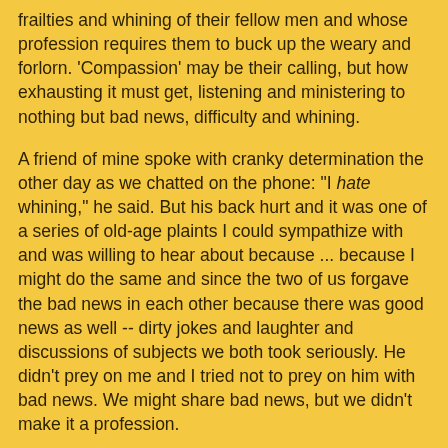frailties and whining of their fellow men and whose profession requires them to buck up the weary and forlorn. 'Compassion' may be their calling, but how exhausting it must get, listening and ministering to nothing but bad news, difficulty and whining.
A friend of mine spoke with cranky determination the other day as we chatted on the phone: "I hate whining," he said. But his back hurt and it was one of a series of old-age plaints I could sympathize with and was willing to hear about because ... because I might do the same and since the two of us forgave the bad news in each other because there was good news as well -- dirty jokes and laughter and discussions of subjects we both took seriously. He didn't prey on me and I tried not to prey on him with bad news. We might share bad news, but we didn't make it a profession.
There are people who seem to think it's acceptable to prey on others with their bad news. Like the blackmail of the stereotyped "Jewish mother," they seek out and suck dry the kindness others may be willing to exhibit. They demand it like some tantrum-prone child. Me, me, me, me, me ......